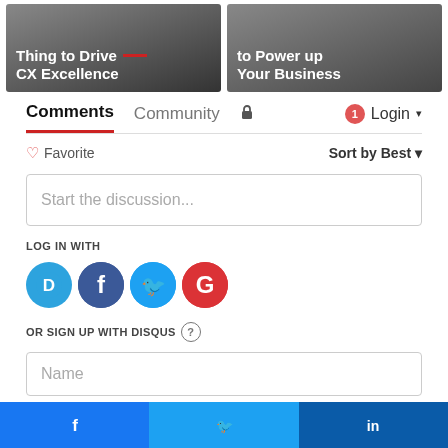[Figure (screenshot): Two promotional banner images side by side: left banner shows 'Thing to Drive CX Excellence' on dark background with red dash, right banner shows 'to Power up Your Business' on dark background]
Comments  Community  🔒  1  Login ▾
♡ Favorite  Sort by Best ▾
Start the discussion...
LOG IN WITH
[Figure (infographic): Four social login icons: Disqus (D, blue), Facebook (f, dark blue), Twitter (bird, light blue), Google (G, red)]
OR SIGN UP WITH DISQUS ?
Name
[Figure (infographic): Three share buttons at bottom: Facebook (blue, f icon), Twitter (light blue, bird icon), LinkedIn (dark blue, in icon)]